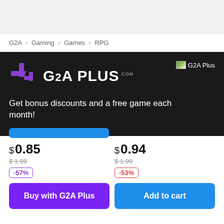G2A > Gaming > Games > RPG
[Figure (logo): G2A Plus logo with purple plus icon and white G2A PLUS text on dark background, with a broken image placeholder labeled G2A Plus on the right]
Get bonus discounts and a free game each month!
$ 0.85
$ 1.99
-57%
$ 0.94
$ 1.99
-53%
Buy with G2A Plus
Add to cart